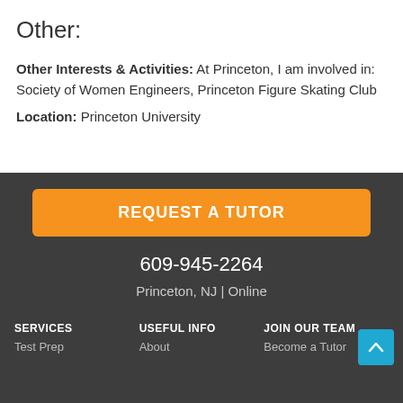Other:
Other Interests & Activities: At Princeton, I am involved in: Society of Women Engineers, Princeton Figure Skating Club
Location: Princeton University
REQUEST A TUTOR
609-945-2264
Princeton, NJ | Online
SERVICES | Test Prep | USEFUL INFO | About | JOIN OUR TEAM | Become a Tutor